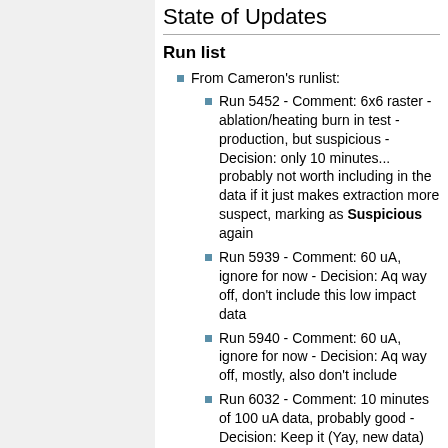State of Updates
Run list
From Cameron's runlist:
Run 5452 - Comment: 6x6 raster - ablation/heating burn in test - production, but suspicious - Decision: only 10 minutes... probably not worth including in the data if it just makes extraction more suspect, marking as Suspicious again
Run 5939 - Comment: 60 uA, ignore for now - Decision: Aq way off, don't include this low impact data
Run 5940 - Comment: 60 uA, ignore for now - Decision: Aq way off, mostly, also don't include
Run 6032 - Comment: 10 minutes of 100 uA data, probably good - Decision: Keep it (Yay, new data)
Cameron has gone through BCM Aq and DD problematic runs and added